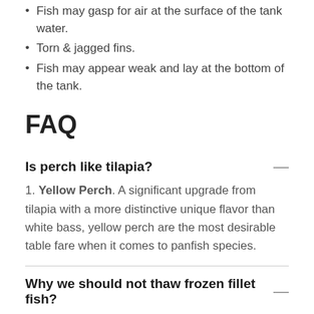Fish may gasp for air at the surface of the tank water.
Torn & jagged fins.
Fish may appear weak and lay at the bottom of the tank.
FAQ
Is perch like tilapia?
1. Yellow Perch. A significant upgrade from tilapia with a more distinctive unique flavor than white bass, yellow perch are the most desirable table fare when it comes to panfish species.
Why we should not thaw frozen fillet fish?
Few people realize that thawing fish in its packaging